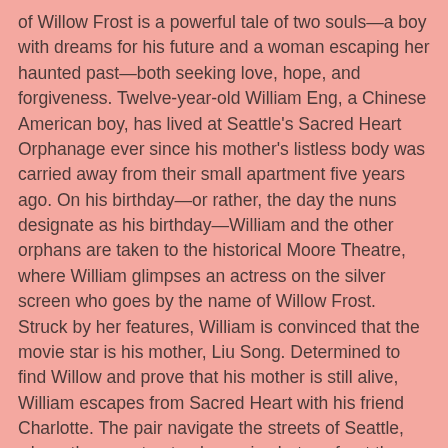of Willow Frost is a powerful tale of two souls—a boy with dreams for his future and a woman escaping her haunted past—both seeking love, hope, and forgiveness. Twelve-year-old William Eng, a Chinese American boy, has lived at Seattle's Sacred Heart Orphanage ever since his mother's listless body was carried away from their small apartment five years ago. On his birthday—or rather, the day the nuns designate as his birthday—William and the other orphans are taken to the historical Moore Theatre, where William glimpses an actress on the silver screen who goes by the name of Willow Frost. Struck by her features, William is convinced that the movie star is his mother, Liu Song. Determined to find Willow and prove that his mother is still alive, William escapes from Sacred Heart with his friend Charlotte. The pair navigate the streets of Seattle, where they must not only survive but confront the mysteries of William's past and his connection to the exotic film star. The story of Willow Frost, however, is far more complicated than the Hollywood fantasy William sees onscreen. Shifting between the Great Depression and the 1920s, Songs of Willow Frost takes readers on an emotional journey of discovery. Jamie Ford's swooping novel will resonate with